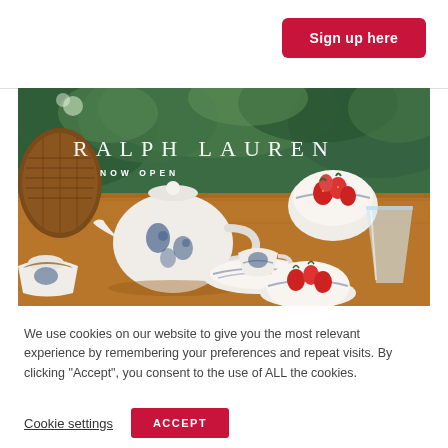[Figure (photo): Sign up here button on white background at top right]
[Figure (photo): Ralph Lauren Now Open promotional banner showing blue and white floral chinoiserie teaware including teapot, cups, bowls with strawberries on a wooden table with green garden background]
We use cookies on our website to give you the most relevant experience by remembering your preferences and repeat visits. By clicking "Accept", you consent to the use of ALL the cookies.
Cookie settings
ACCEPT